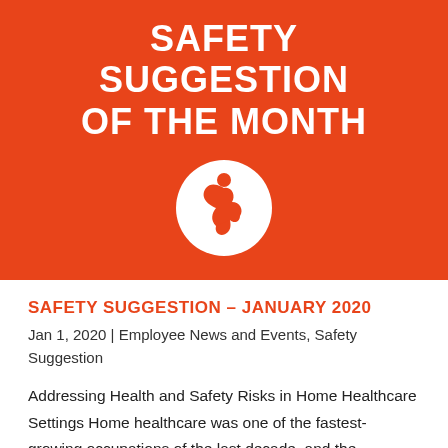[Figure (illustration): Orange banner with white bold text 'SAFETY SUGGESTION OF THE MONTH' and a white circular logo featuring a stylized figure/heart motif on orange background]
SAFETY SUGGESTION – JANUARY 2020
Jan 1, 2020 | Employee News and Events, Safety Suggestion
Addressing Health and Safety Risks in Home Healthcare Settings Home healthcare was one of the fastest-growing occupations of the last decade, and the expected demand for workers in this field will far outpace the sector's growth.  Home healthcare workers